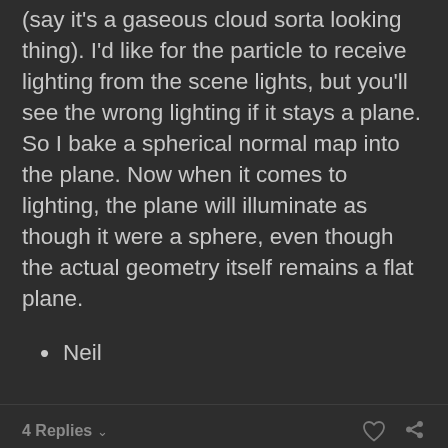(say it's a gaseous cloud sorta looking thing). I'd like for the particle to receive lighting from the scene lights, but you'll see the wrong lighting if it stays a plane. So I bake a spherical normal map into the plane. Now when it comes to lighting, the plane will illuminate as though it were a sphere, even though the actual geometry itself remains a flat plane.
Neil
4 Replies
mister3d
Expert